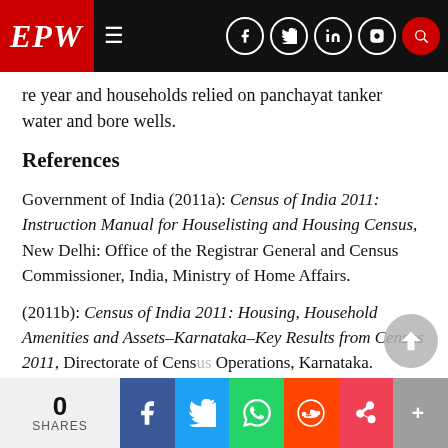EPW navigation bar with logo and social media icons
re year and households relied on panchayat tanker water and bore wells.
References
Government of India (2011a): Census of India 2011: Instruction Manual for Houselisting and Housing Census, New Delhi: Office of the Registrar General and Census Commissioner, India, Ministry of Home Affairs.
(2011b): Census of India 2011: Housing, Household Amenities and Assets–Karnataka–Key Results from Census 2011, Directorate of Census Operations, Karnataka.
0 SHARES | Facebook | Twitter | WhatsApp | Reddit | Pocket | Plus